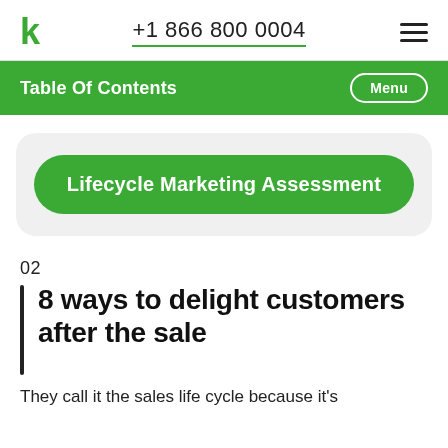k   +1 866 800 0004
Table Of Contents   Menu
[Figure (other): Green rounded button labeled 'Lifecycle Marketing Assessment' inside a light gray rounded card]
02
8 ways to delight customers after the sale
They call it the sales life cycle because it's